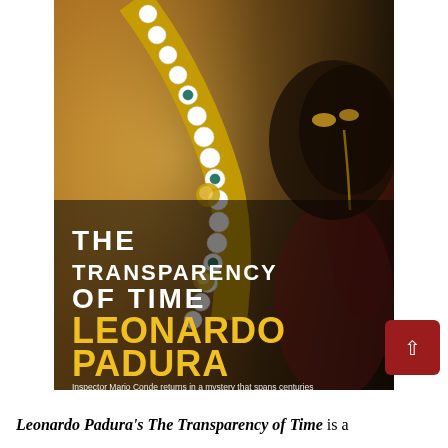[Figure (illustration): Book cover of 'The Transparency of Time' by Leonardo Padura. Background shows a painting detail with golden jewelry/necklace with white circular beads and gemstones against a warm gold background on the left, and a dark-skinned face with golden tears on the right. Title 'THE TRANSPARENCY OF TIME' appears in bold white uppercase letters. Author name 'LEONARDO PADURA' appears in large bold yellow/gold letters. Subtitle reads 'Inspector Mario Conde returns in a mystery that spans centuries - from the medieval Crusades to contemporary Havana'.]
Leonardo Padura's The Transparency of Time is a